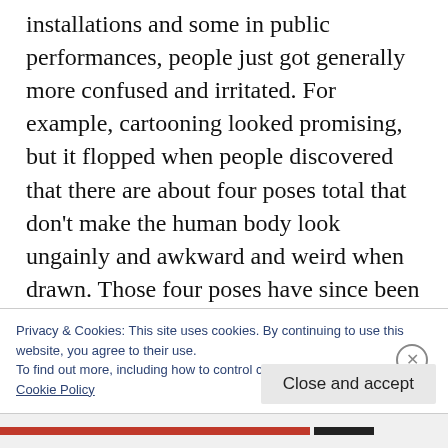installations and some in public performances, people just got generally more confused and irritated. For example, cartooning looked promising, but it flopped when people discovered that there are about four poses total that don't make the human body look ungainly and awkward and weird when drawn. Those four poses have since been fully explored and nobody can be bothered to look at them anymore. Some folks carry on drawing, because what else is there to do, and people still try
Privacy & Cookies: This site uses cookies. By continuing to use this website, you agree to their use.
To find out more, including how to control cookies, see here:
Cookie Policy
Close and accept